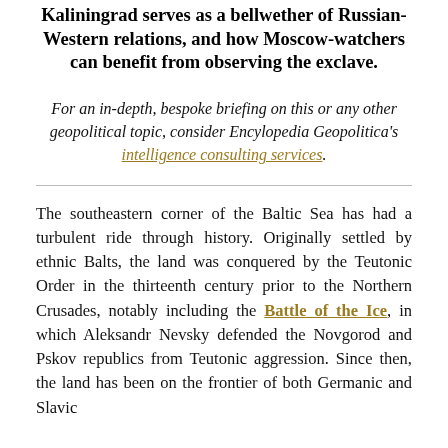Kaliningrad serves as a bellwether of Russian-Western relations, and how Moscow-watchers can benefit from observing the exclave.
For an in-depth, bespoke briefing on this or any other geopolitical topic, consider Encylopedia Geopolitica's intelligence consulting services.
The southeastern corner of the Baltic Sea has had a turbulent ride through history. Originally settled by ethnic Balts, the land was conquered by the Teutonic Order in the thirteenth century prior to the Northern Crusades, notably including the Battle of the Ice, in which Aleksandr Nevsky defended the Novgorod and Pskov republics from Teutonic aggression. Since then, the land has been on the frontier of both Germanic and Slavic